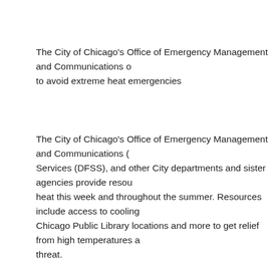The City of Chicago's Office of Emergency Management and Communications offers resources to avoid extreme heat emergencies
The City of Chicago's Office of Emergency Management and Communications (OEMC), Department of Family and Support Services (DFSS), and other City departments and sister agencies provide resources to help residents beat the heat this week and throughout the summer. Resources include access to cooling centers, pools, spray parks, Chicago Public Library locations and more to get relief from high temperatures and to minimize the health threat.
The National Weather Service in Chicago has issued a Heat Advisory in effect through Wednesday, June 15 at 8 p.m. with expected peak afternoon heat index values between 100-105°F. High temperatures and high humidity may cause heat illnesses to occur.
Residents should feel empowered to contact 3-1-1 if they are feeling uncomfortable due to the heat. It is important to check on relatives, neighbors, seniors and our vulnerable populations when temperatures are high. If you are unable to make contact, you can request a wellbeing check by downloading the Chicago 311 app at 311.chicago.gov, or calling 3-1-1. If there is a medical emergency due to a heat related illness, call 9-1-1.
The City of Chicago's cooling areas located at the City's six community service centers are open Wednesday. The cooling areas operate from 9 a.m. to 5 p.m., Mondays–Fridays